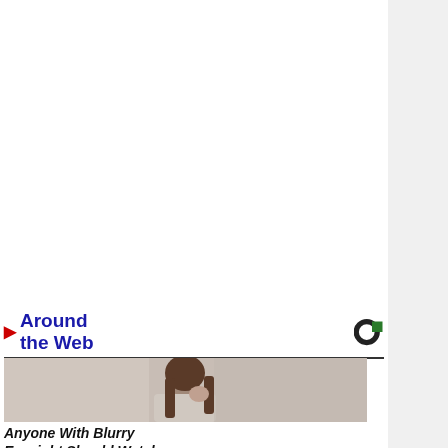[Figure (illustration): Black and white engraving of a tall cloaked figure with a staff standing in a rocky landscape, classical artistic style]
This is cool
rgfellows:
So, in my art history class today, my profe... something that is so fuckin awesome.
[Figure (photo): Person standing outdoors behind large decorative wooden panels/shields in a natural setting]
[Figure (photo): Around the Web section header with Taboola logo]
[Figure (photo): Woman with long brown hair holding her glasses, appearing to have eye strain or headache]
Anyone With Blurry Eyesight Should Watch